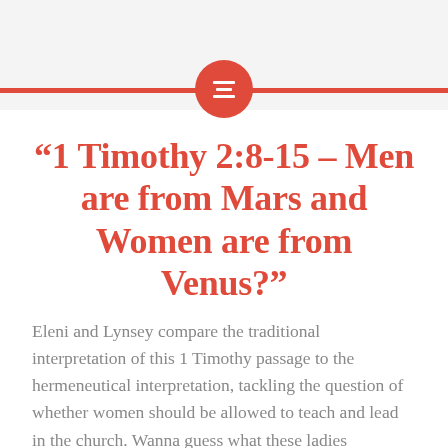[Figure (other): Red horizontal bar with centered red circle containing white hamburger/list icon]
“1 Timothy 2:8-15 – Men are from Mars and Women are from Venus?”
Eleni and Lynsey compare the traditional interpretation of this 1 Timothy passage to the hermeneutical interpretation, tackling the question of whether women should be allowed to teach and lead in the church. Wanna guess what these ladies conclude? Nah, better just give it a listen! Recorded